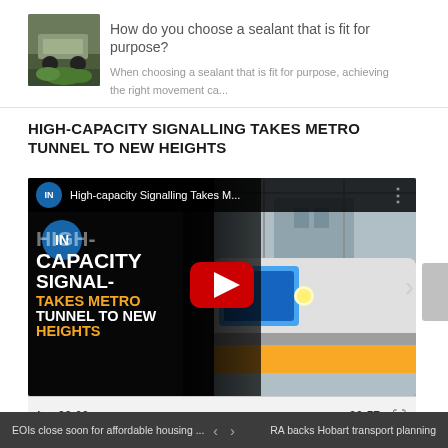[Figure (photo): Small thumbnail image of sealant/construction material]
How do you choose a sealant that is fit for purpose?
When choosing a sealant that is fit for purpose, achieving the right movement ca...
HIGH-CAPACITY SIGNALLING TAKES METRO TUNNEL TO NEW HEIGHTS
[Figure (screenshot): YouTube video thumbnail showing High-capacity Signalling Takes Metro Tunnel to New Heights video with train image on right side and bold text overlay on left side, with YouTube play button in center]
EOIs close soon for affordable housing ...   <   >   RA backs Hobart transport planning